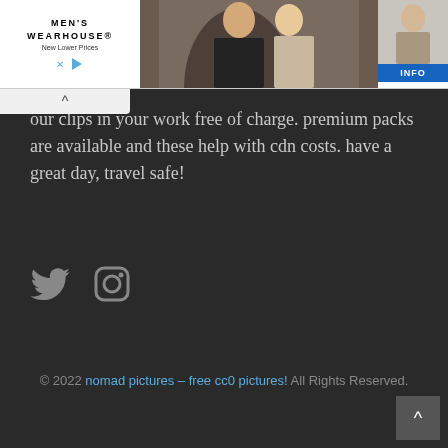[Figure (screenshot): Men's Wearhouse advertisement banner with logo, couple in formal wear, man in grey suit, and INFO button]
our clips in your work free of charge. premium packs are available and these help with cdn costs. have a great day, travel safe!
[Figure (illustration): Twitter bird icon and Instagram camera icon in grey]
© 2022 nomad pictures – free cc0 pictures! All Rights Reserved.